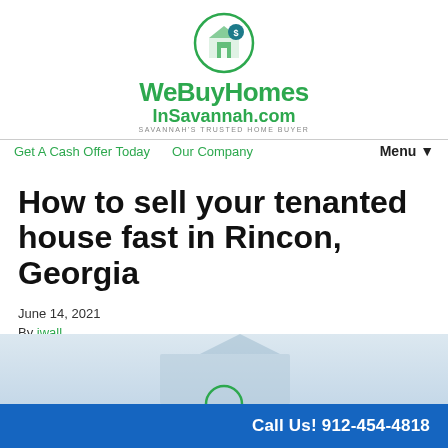[Figure (logo): WeBuyHomesInSavannah.com logo with green circle icon of a house above the text]
Get A Cash Offer Today   Our Company   Menu ▼
How to sell your tenanted house fast in Rincon, Georgia
June 14, 2021
By iwall
[Figure (photo): Partial image of a house, cut off at the bottom of the page]
Call Us! 912-454-4818